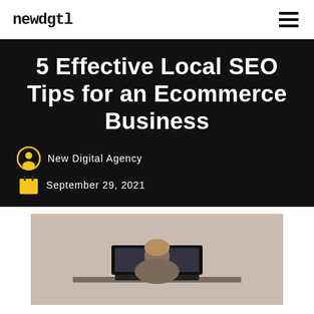newdgtl
5 Effective Local SEO Tips for an Ecommerce Business
New Digital Agency
September 29, 2021
[Figure (photo): Person sitting at a laptop computer, seen from behind, on a beige background]